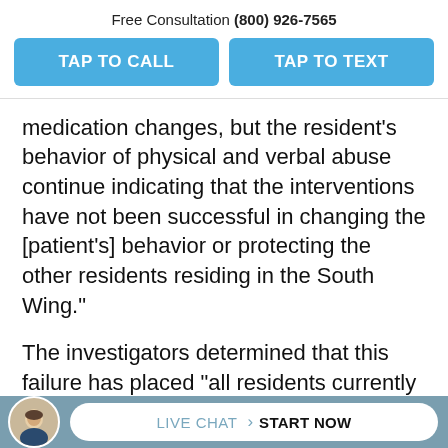Free Consultation (800) 926-7565
[Figure (infographic): Two blue CTA buttons: TAP TO CALL and TAP TO TEXT]
medication changes, but the resident's behavior of physical and verbal abuse continue indicating that the interventions have not been successful in changing the [patient's] behavior or protecting the other residents residing in the South Wing."
The investigators determined that this failure has placed "all residents currently residing on the [South] Wing of the facility
[Figure (infographic): Live chat footer bar with attorney avatar, LIVE CHAT > START NOW pill button]